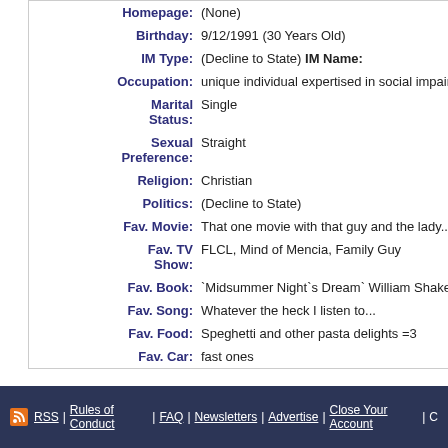| Field | Value |
| --- | --- |
| Homepage: | (None) |
| Birthday: | 9/12/1991 (30 Years Old) |
| IM Type: | (Decline to State) IM Name: |
| Occupation: | unique individual expertised in social impairity |
| Marital Status: | Single |
| Sexual Preference: | Straight |
| Religion: | Christian |
| Politics: | (Decline to State) |
| Fav. Movie: | That one movie with that guy and the lady... |
| Fav. TV Show: | FLCL, Mind of Mencia, Family Guy |
| Fav. Book: | `Midsummer Night`s Dream` William Shakespeare |
| Fav. Song: | Whatever the heck I listen to... |
| Fav. Food: | Speghetti and other pasta delights =3 |
| Fav. Car: | fast ones |
RSS | Rules of Conduct | FAQ | Newsletters | Advertise | Close Your Account | C